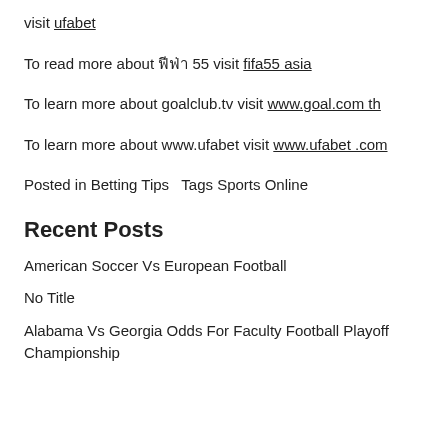visit ufabet
To read more about ฟีฟ่า 55 visit fifa55 asia
To learn more about goalclub.tv visit www.goal.com th
To learn more about www.ufabet visit www.ufabet .com
Posted in Betting Tips   Tags Sports Online
Recent Posts
American Soccer Vs European Football
No Title
Alabama Vs Georgia Odds For Faculty Football Playoff Championship